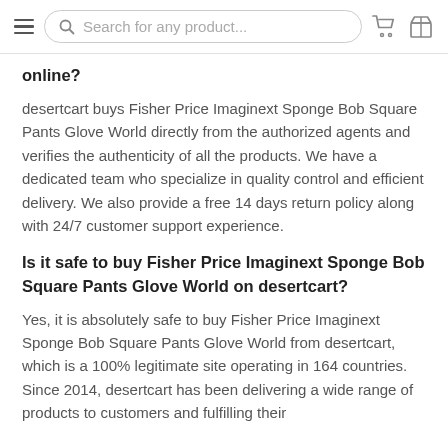Search for any product...
online?
desertcart buys Fisher Price Imaginext Sponge Bob Square Pants Glove World directly from the authorized agents and verifies the authenticity of all the products. We have a dedicated team who specialize in quality control and efficient delivery. We also provide a free 14 days return policy along with 24/7 customer support experience.
Is it safe to buy Fisher Price Imaginext Sponge Bob Square Pants Glove World on desertcart?
Yes, it is absolutely safe to buy Fisher Price Imaginext Sponge Bob Square Pants Glove World from desertcart, which is a 100% legitimate site operating in 164 countries. Since 2014, desertcart has been delivering a wide range of products to customers and fulfilling their